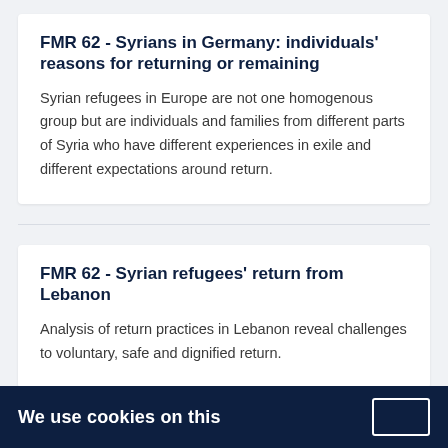FMR 62 - Syrians in Germany: individuals' reasons for returning or remaining
Syrian refugees in Europe are not one homogenous group but are individuals and families from different parts of Syria who have different experiences in exile and different expectations around return.
FMR 62 - Syrian refugees' return from Lebanon
Analysis of return practices in Lebanon reveal challenges to voluntary, safe and dignified return.
We use cookies on this...